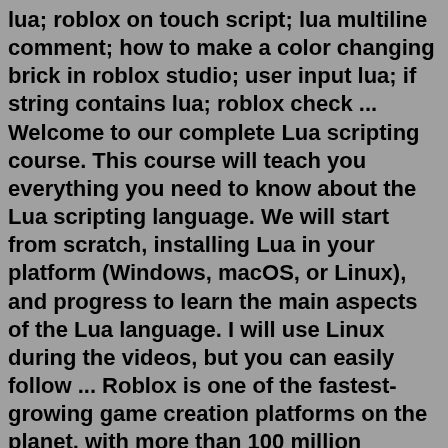lua; roblox on touch script; lua multiline comment; how to make a color changing brick in roblox studio; user input lua; if string contains lua; roblox check ... Welcome to our complete Lua scripting course. This course will teach you everything you need to know about the Lua scripting language. We will start from scratch, installing Lua in your platform (Windows, macOS, or Linux), and progress to learn the main aspects of the Lua language. I will use Linux during the videos, but you can easily follow ... Roblox is one of the fastest-growing game creation platforms on the planet, with more than 100 million players per month and top developers making over $1 million a year. Use Roblox's built-in editor to create 3D worlds, then use Lua—a powerful and fast programming language—to code game mechanics. Aug 27, 2021 · Lua 2022-03-17 00:30:02 lua list of all keys Lua 2022-03-16 22:40:31 play sound love2d Lua 2022-03-12 12:15:06 how to get the player mouse in roblox studio Lua is a widely used scripting and programming language. It's light-weight and simple to learn, which is embedded...